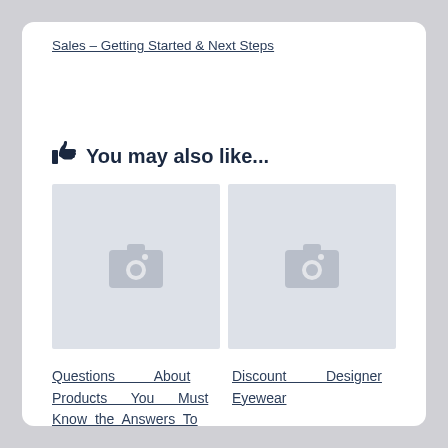Sales – Getting Started & Next Steps
👍 You may also like...
[Figure (photo): Placeholder image thumbnail (grey background with camera icon) - left]
[Figure (photo): Placeholder image thumbnail (grey background with camera icon) - right]
Questions About Products You Must Know the Answers To
Discount Designer Eyewear